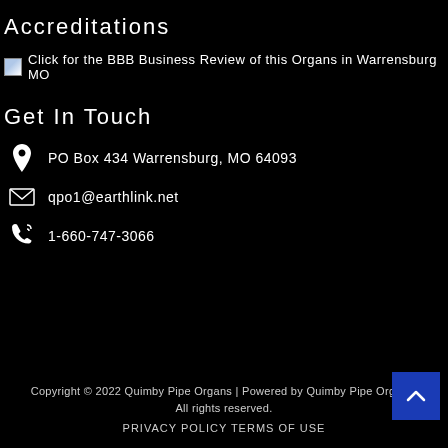Accreditations
[Figure (other): BBB Business Review link with broken image placeholder and text: Click for the BBB Business Review of this Organs in Warrensburg MO]
Get In Touch
PO Box 434 Warrensburg, MO 64093
qpo1@earthlink.net
1-660-747-3066
Copyright © 2022 Quimby Pipe Organs | Powered by Quimby Pipe Organs. All rights reserved.
PRIVACY POLICY TERMS OF USE